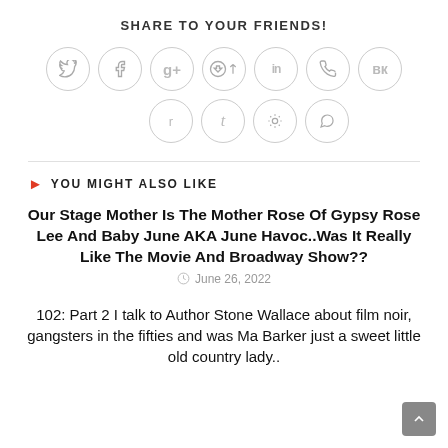SHARE TO YOUR FRIENDS!
[Figure (infographic): Social share buttons: Twitter, Facebook, Google+, Pinterest, LinkedIn, Phone/Viber, VK (top row); Reddit, Tumblr, Digg/Stumbleupon, WhatsApp (bottom row)]
YOU MIGHT ALSO LIKE
Our Stage Mother Is The Mother Rose Of Gypsy Rose Lee And Baby June AKA June Havoc..Was It Really Like The Movie And Broadway Show??
June 26, 2022
102: Part 2 I talk to Author Stone Wallace about film noir, gangsters in the fifties and was Ma Barker just a sweet little old country lady..